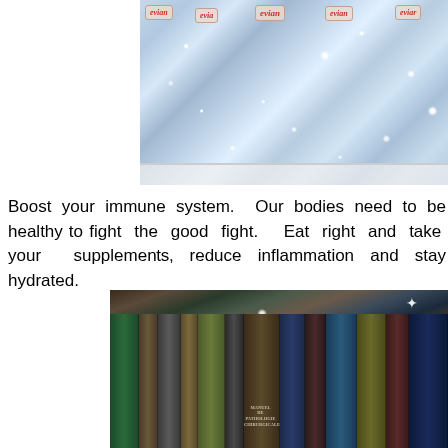[Figure (photo): Evian water bottles covered in sparkling rhinestones/crystals arranged on a shelf, with visible evian brand labels]
Boost your immune system.  Our bodies need to be healthy to fight the good fight.   Eat right and take your supplements, reduce inflammation and stay hydrated.
[Figure (photo): Multiple books with spines decorated in sparkling rhinestones/crystals, including one visible spine reading 'MANUEL DE PATHOLOGIE CHIRURGICALE']